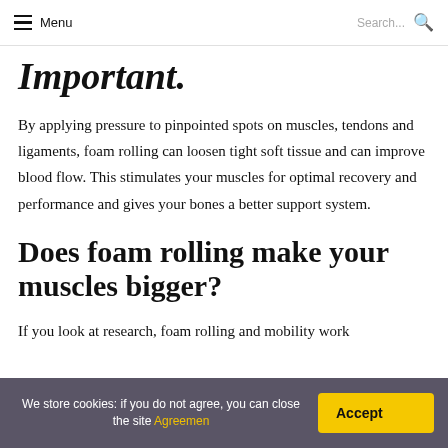Menu   Search...
Important.
By applying pressure to pinpointed spots on muscles, tendons and ligaments, foam rolling can loosen tight soft tissue and can improve blood flow. This stimulates your muscles for optimal recovery and performance and gives your bones a better support system.
Does foam rolling make your muscles bigger?
If you look at research, foam rolling and mobility work
We store cookies: if you do not agree, you can close the site Agreemen